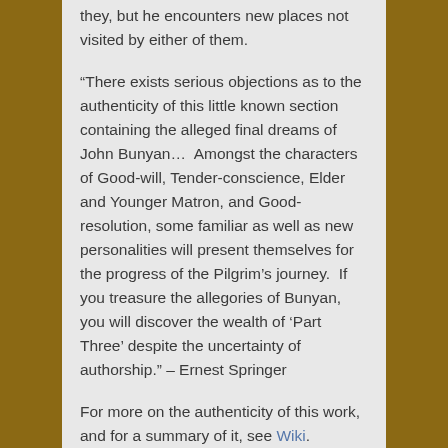they, but he encounters new places not visited by either of them.
“There exists serious objections as to the authenticity of this little known section containing the alleged final dreams of John Bunyan…  Amongst the characters of Good-will, Tender-conscience, Elder and Younger Matron, and Good-resolution, some familiar as well as new personalities will present themselves for the progress of the Pilgrim’s journey.  If you treasure the allegories of Bunyan, you will discover the wealth of ‘Part Three’ despite the uncertainty of authorship.” – Ernest Springer
For more on the authenticity of this work, and for a summary of it, see Wiki.